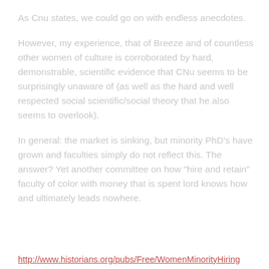As Cnu states, we could go on with endless anecdotes.
However, my experience, that of Breeze and of countless other women of culture is corroborated by hard, demonstrable, scientific evidence that CNu seems to be surprisingly unaware of (as well as the hard and well respected social scientific/social theory that he also seems to overlook).
In general: the market is sinking, but minority PhD's have grown and faculties simply do not reflect this. The answer? Yet another committee on how "hire and retain" faculty of color with money that is spent lord knows how and ultimately leads nowhere.
http://www.historians.org/pubs/Free/WomenMinorityHiring